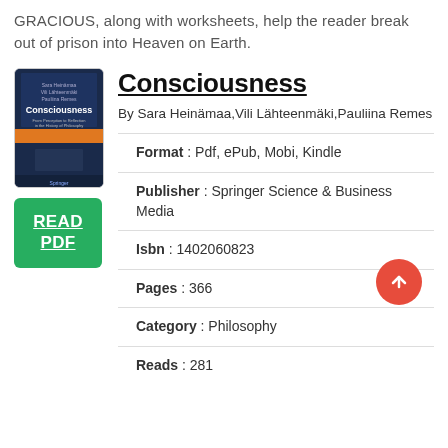GRACIOUS, along with worksheets, help the reader break out of prison into Heaven on Earth.
Consciousness
By Sara Heinämaa,Vili Lähteenmäki,Pauliina Remes
[Figure (illustration): Book cover of 'Consciousness' with a dark blue background, orange stripe, and Springer publisher logo]
READ PDF
Format : Pdf, ePub, Mobi, Kindle
Publisher : Springer Science & Business Media
Isbn : 1402060823
Pages : 366
Category : Philosophy
Reads : 281